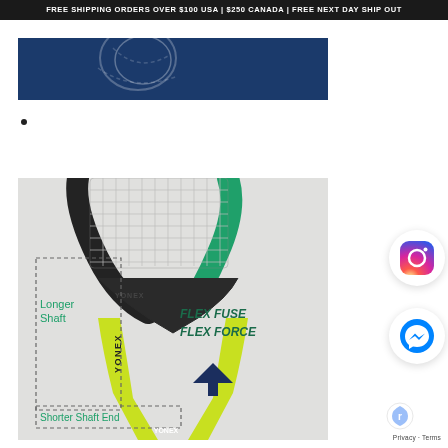FREE SHIPPING ORDERS OVER $100 USA | $250 CANADA | FREE NEXT DAY SHIP OUT
[Figure (photo): Blue banner with tennis ball illustration and Yonex branding]
•
[Figure (photo): Close-up of Yonex tennis racket throat showing FLEX FUSE FLEX FORCE technology with green and yellow coloring. Labels show 'Longer Shaft' on left with dashed box annotation and 'Shorter Shaft End' at bottom, with text 'FLEX FUSE FLEX FORCE' in dark teal italic bold on right side of throat area. A navy chevron/up-arrow icon is below the text.]
[Figure (logo): Instagram logo circle button]
[Figure (logo): Facebook Messenger logo circle button]
Privacy · Terms